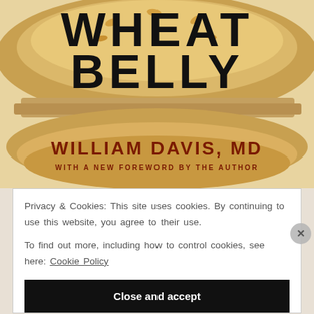[Figure (photo): Book cover of 'Wheat Belly' by William Davis, MD. Large bold black text reading 'WHEAT BELLY' overlaid on a close-up photo of a burger bun. Author name 'WILLIAM DAVIS, MD' in dark red/brown. Subtitle: 'WITH A NEW FOREWORD BY THE AUTHOR'.]
Privacy & Cookies: This site uses cookies. By continuing to use this website, you agree to their use.
To find out more, including how to control cookies, see here: Cookie Policy
Close and accept